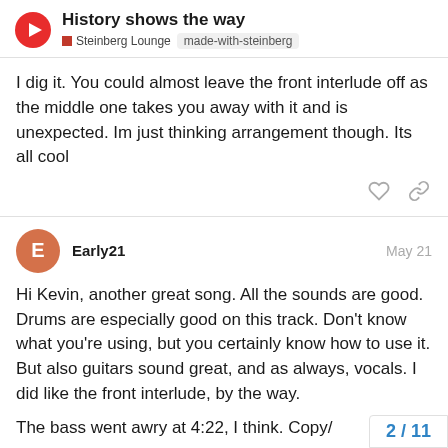History shows the way — Steinberg Lounge  made-with-steinberg
I dig it. You could almost leave the front interlude off as the middle one takes you away with it and is unexpected. Im just thinking arrangement though. Its all cool
Early21  May 21
Hi Kevin, another great song. All the sounds are good. Drums are especially good on this track. Don't know what you're using, but you certainly know how to use it. But also guitars sound great, and as always, vocals. I did like the front interlude, by the way.
The bass went awry at 4:22, I think. Copy/
2 / 11